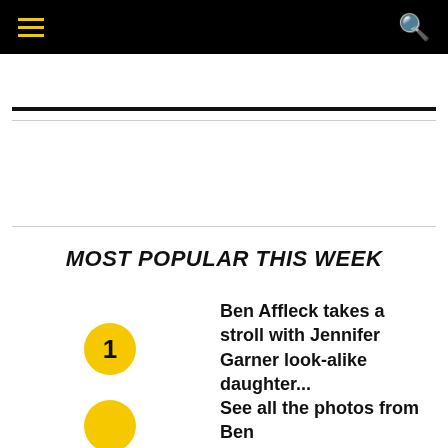Navigation header with hamburger menu and search icon
MOST POPULAR THIS WEEK
Ben Affleck takes a stroll with Jennifer Garner look-alike daughter...
See all the photos from Ben